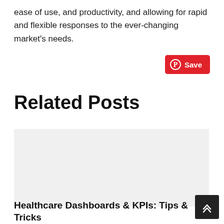ease of use, and productivity, and allowing for rapid and flexible responses to the ever-changing market's needs.
[Figure (other): Pinterest Save button (red button with Pinterest logo and 'Save' text)]
Related Posts
[Figure (photo): Image placeholder area for related post]
Healthcare Dashboards & KPIs: Tips & Tricks